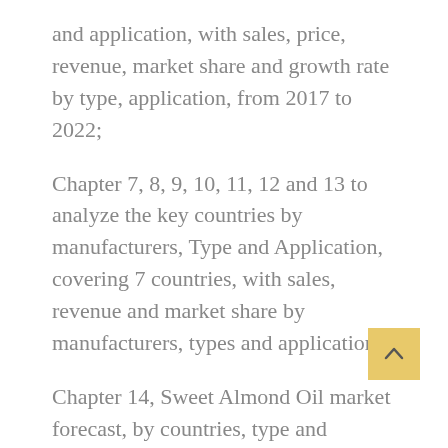and application, with sales, price, revenue, market share and growth rate by type, application, from 2017 to 2022;
Chapter 7, 8, 9, 10, 11, 12 and 13 to analyze the key countries by manufacturers, Type and Application, covering 7 countries, with sales, revenue and market share by manufacturers, types and applications;
Chapter 14, Sweet Almond Oil market forecast, by countries, type and application, with sales, price, revenue and growth rate forecast, from 2022 to 2028;
Chapter 15, to analyze the manufacturing cost, key raw materials and manufacturing